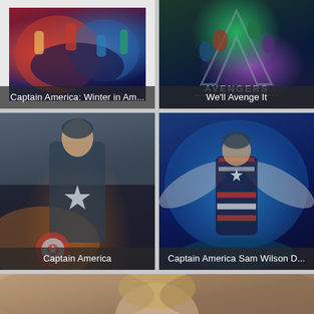[Figure (illustration): Comic art print of Marvel superheroes in action, white mat border, on gray background. Caption reads 'Captain America: Winter in Am...']
[Figure (illustration): Avengers movie poster with heroes arranged around a large letter A, dark teal/green tones. Caption reads 'We'll Avenge It']
[Figure (photo): Hot Toys Captain America action figure, Steve Rogers in dark blue suit with star emblem and shield, dramatic sunset background. Caption reads 'Captain America']
[Figure (photo): Captain America Sam Wilson action figure in blue and red winged suit, dynamic flying pose against blue background. Caption reads 'Captain America Sam Wilson D...']
[Figure (photo): Partial view of a person, appears to be a man with light brown/blonde hair, face partially visible, soft blurred background]